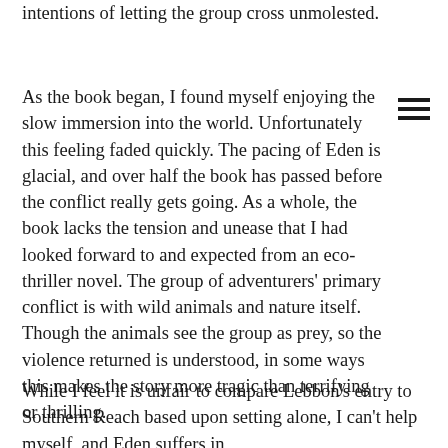intentions of letting the group cross unmolested.
As the book began, I found myself enjoying the slow immersion into the world. Unfortunately this feeling faded quickly. The pacing of Eden is glacial, and over half the book has passed before the conflict really gets going. As a whole, the book lacks the tension and unease that I had looked forward to and expected from an eco-thriller novel. The group of adventurers' primary conflict is with wild animals and nature itself. Though the animals see the group as prey, so the violence returned is understood, in some ways this makes the story more tragic than terrifying or thrilling.
While I feel it is unfair to compare Lebbon's entry to Southern Reach based upon setting alone, I can't help myself, and Eden suffers in